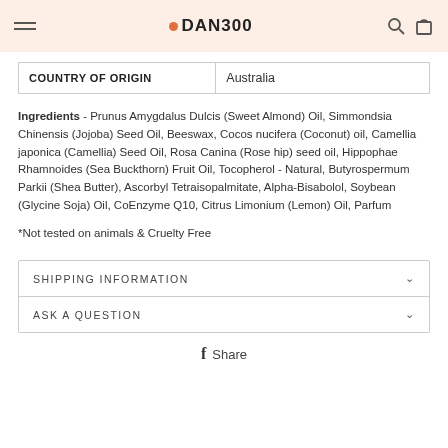DAN300
| COUNTRY OF ORIGIN | Australia |
Ingredients - Prunus Amygdalus Dulcis (Sweet Almond) Oil, Simmondsia Chinensis (Jojoba) Seed Oil, Beeswax, Cocos nucifera (Coconut) oil, Camellia japonica (Camellia) Seed Oil, Rosa Canina (Rose hip) seed oil, Hippophae Rhamnoides (Sea Buckthorn) Fruit Oil, Tocopherol - Natural, Butyrospermum Parkii (Shea Butter), Ascorbyl Tetraisopalmitate, Alpha-Bisabolol, Soybean (Glycine Soja) Oil, CoEnzyme Q10, Citrus Limonium (Lemon) Oil, Parfum
*Not tested on animals & Cruelty Free
SHIPPING INFORMATION
ASK A QUESTION
Share